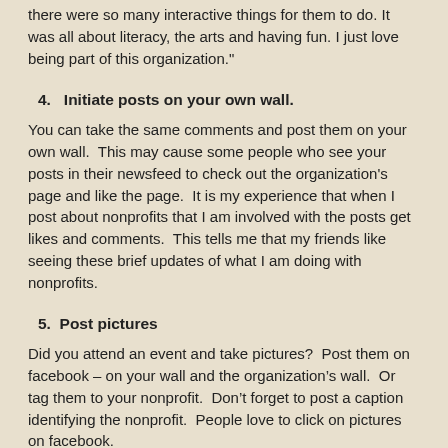there were so many interactive things for them to do. It was all about literacy, the arts and having fun. I just love being part of this organization."
4.   Initiate posts on your own wall.
You can take the same comments and post them on your own wall.  This may cause some people who see your posts in their newsfeed to check out the organization's page and like the page.  It is my experience that when I post about nonprofits that I am involved with the posts get likes and comments.  This tells me that my friends like seeing these brief updates of what I am doing with nonprofits.
5.  Post pictures
Did you attend an event and take pictures?  Post them on facebook – on your wall and the organization's wall.  Or tag them to your nonprofit.  Don't forget to post a caption identifying the nonprofit.  People love to click on pictures on facebook.